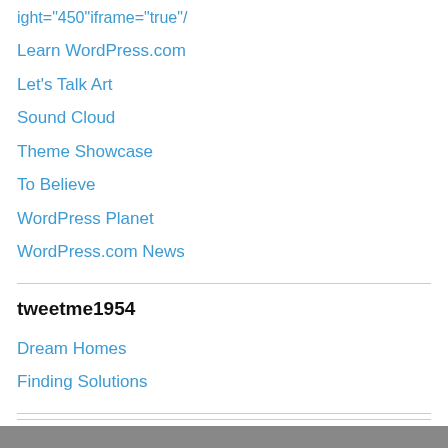ight="450"iframe="true"/
Learn WordPress.com
Let's Talk Art
Sound Cloud
Theme Showcase
To Believe
WordPress Planet
WordPress.com News
tweetme1954
Dream Homes
Finding Solutions
Follow Who I am